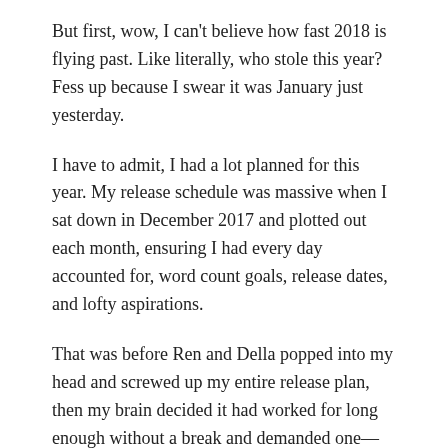But first, wow, I can't believe how fast 2018 is flying past. Like literally, who stole this year? Fess up because I swear it was January just yesterday.
I have to admit, I had a lot planned for this year. My release schedule was massive when I sat down in December 2017 and plotted out each month, ensuring I had every day accounted for, word count goals, release dates, and lofty aspirations.
That was before Ren and Della popped into my head and screwed up my entire release plan, then my brain decided it had worked for long enough without a break and demanded one—rather rudely.  It demanded so loud in fact, this time, I wasn't able to ignore it.
I've been lucky enough to be a 'published' author for over five years now. I put 'publish' in quotations because I've been an